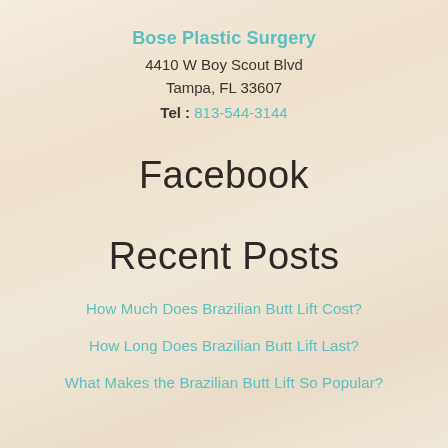Bose Plastic Surgery
4410 W Boy Scout Blvd
Tampa, FL 33607
Tel : 813-544-3144
Facebook
Recent Posts
How Much Does Brazilian Butt Lift Cost?
How Long Does Brazilian Butt Lift Last?
What Makes the Brazilian Butt Lift So Popular?